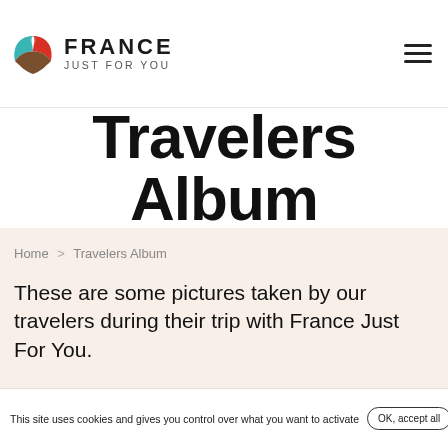[Figure (logo): France Just For You logo with stylized tulip/leaf icon in teal, brown and red, and text FRANCE JUST FOR YOU]
Travelers Album
Home > Travelers Album
These are some pictures taken by our travelers during their trip with France Just For You.
This site uses cookies and gives you control over what you want to activate  OK, accept all  Deny all cookies  Personalize  Privacy policy